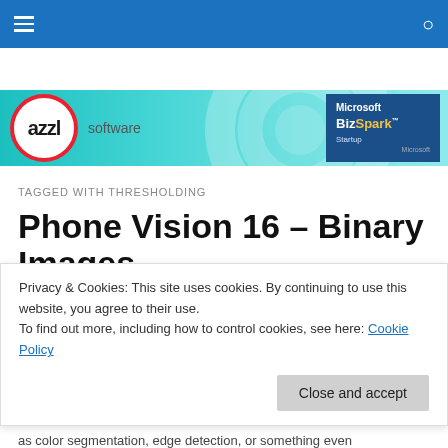Navigation bar with hamburger menu and search icon
[Figure (logo): azzl software logo with red circle border on teal banner, with Microsoft BizSpark badge]
TAGGED WITH THRESHOLDING
Phone Vision 16 – Binary Images
Privacy & Cookies: This site uses cookies. By continuing to use this website, you agree to their use.
To find out more, including how to control cookies, see here: Cookie Policy
Close and accept
as color segmentation, edge detection, or something even